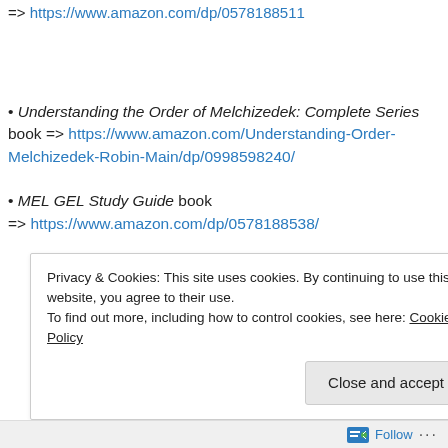=> https://www.amazon.com/dp/0578188511
• Understanding the Order of Melchizedek: Complete Series book => https://www.amazon.com/Understanding-Order-Melchizedek-Robin-Main/dp/0998598240/
• MEL GEL Study Guide book
=> https://www.amazon.com/dp/0578188538/
Privacy & Cookies: This site uses cookies. By continuing to use this website, you agree to their use.
To find out more, including how to control cookies, see here: Cookie Policy
Close and accept
Follow ...